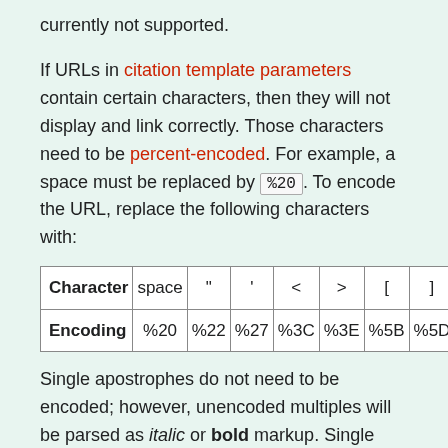currently not supported.
If URLs in citation template parameters contain certain characters, then they will not display and link correctly. Those characters need to be percent-encoded. For example, a space must be replaced by %20. To encode the URL, replace the following characters with:
| Character | space | " | ' | < | > | [ | ] |
| --- | --- | --- | --- | --- | --- | --- | --- |
| Encoding | %20 | %22 | %27 | %3C | %3E | %5B | %5D |
Single apostrophes do not need to be encoded; however, unencoded multiples will be parsed as italic or bold markup. Single curly closing braces also do not need to be encoded; however, an unencoded pair will be parsed as the double closing braces for the